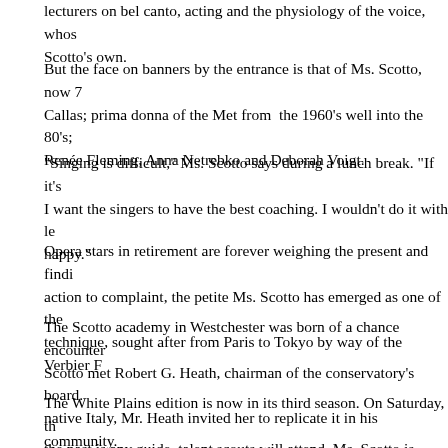lecturers on bel canto, acting and the physiology of the voice, whose Scotto's own.
But the face on banners by the entrance is that of Ms. Scotto, now 7 Callas; prima donna of the Met from the 1960's well into the 80's; e Renée Fleming, Anna Netrebko and Deborah Voigt.
"Singing is difficult," Ms. Scotto says during a lunch break. "If it's I want the singers to have the best coaching. I wouldn't do it with le happy."
Opera stars in retirement are forever weighing the present and findi action to complaint, the petite Ms. Scotto has emerged as one of the technique, sought after from Paris to Tokyo by way of the Verbier F
The Scotto academy in Westchester was born of a chance encounter Scotto met Robert G. Heath, chairman of the conservatory's board. native Italy, Mr. Heath invited her to replicate it in his community.
The White Plains edition is now in its third season. On Saturday, th the past is any guide, talent scouts will attend. Ms. Scotto is determ careers in mind.
While still in her teens, in her hometown, Ms. Scotto made her ope Violetta, in "La Traviata," one of the supreme challenges in the Ital best coaches," she says. "Antonio Tonini, Luigi Ricci. Coaches wh